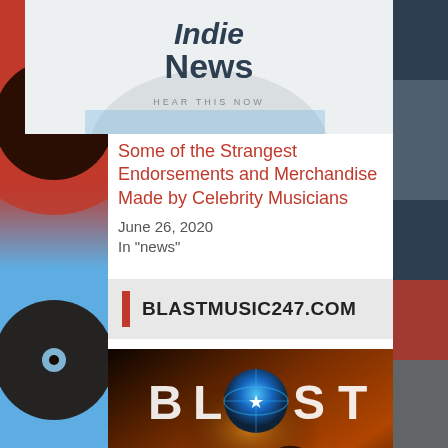[Figure (photo): Indie News magazine/thumbnail with text 'Indie News HEAR THIS NOW' on light background]
Some of the Strangest Endorsements and Merchandise Made by Celebrity Musicians
June 26, 2020
In "news"
BLASTMUSIC247.COM
[Figure (photo): BLAST Music 247 promotional banner showing globe logo, crowd silhouette, text: 'Music Promotion Platform - Monetize & Manage your Art - Powered By Social Media - www.BLASTMUSIC247.com']